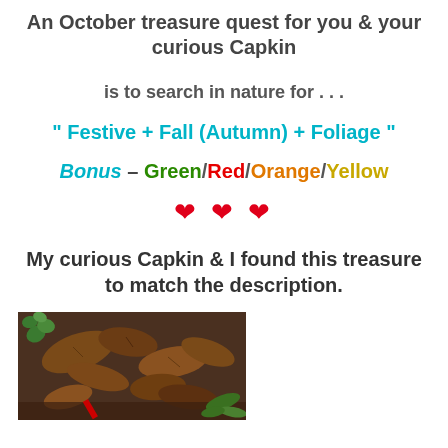An October treasure quest for you & your curious Capkin
is to search in nature for . . .
" Festive + Fall (Autumn) + Foliage "
Bonus – Green/Red/Orange/Yellow
❤ ❤ ❤
My curious Capkin & I found this treasure to match the description.
[Figure (photo): Close-up photograph of autumn foliage on the ground, showing brown fallen leaves, green clover-like plants, and green ferns, with a red object visible.]